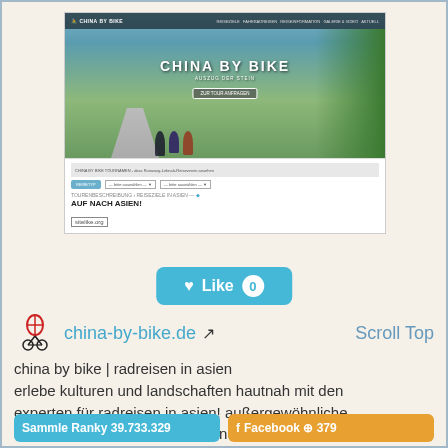[Figure (screenshot): Screenshot of china-by-bike.de website showing hero image with cyclists on a road through tropical vegetation, nav bar reading CHINA BY BIKE, hero text CHINA BY BIKE, and below showing AUF NACH ASIEN! and sitelike.org URL box]
[Figure (other): Like button in teal/cyan color with heart icon, text Like, and counter showing 0]
china-by-bike.de
Scroll Top
china by bike | radreisen in asien erlebe kulturen und landschaften hautnah mit den experten für radreisen in asien! außergewöhnliche reiseideen seit 25 jahren - von nepal bis nach bali.
Sammle Ranky 39.733.329
Facebook 379